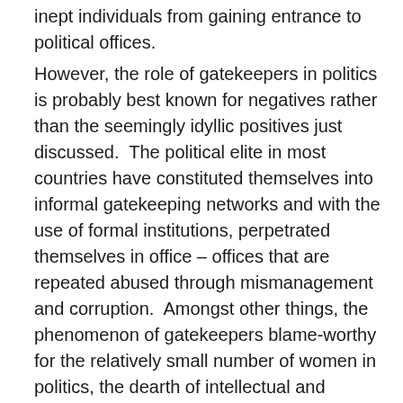inept individuals from gaining entrance to political offices.
However, the role of gatekeepers in politics is probably best known for negatives rather than the seemingly idyllic positives just discussed. The political elite in most countries have constituted themselves into informal gatekeeping networks and with the use of formal institutions, perpetrated themselves in office – offices that are repeated abused through mismanagement and corruption. Amongst other things, the phenomenon of gatekeepers blame-worthy for the relatively small number of women in politics, the dearth of intellectual and charismatic leaders and the palpable lack of youthful leaders in countries. It is estimated that the average age of serving presidents and leaders in African countries is 61, compared to 59 in North and South America, and 55 in Europe. This does not howbeit tell the whole story when